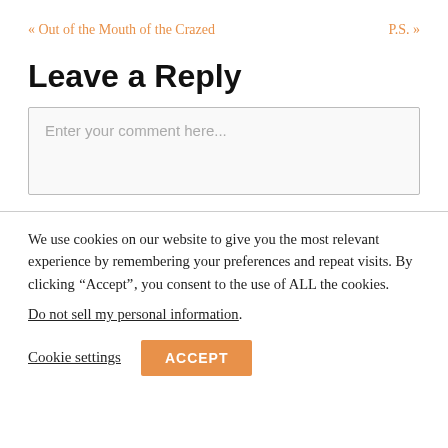« Out of the Mouth of the Crazed    P.S. »
Leave a Reply
Enter your comment here...
We use cookies on our website to give you the most relevant experience by remembering your preferences and repeat visits. By clicking “Accept”, you consent to the use of ALL the cookies.
Do not sell my personal information.
Cookie settings    ACCEPT